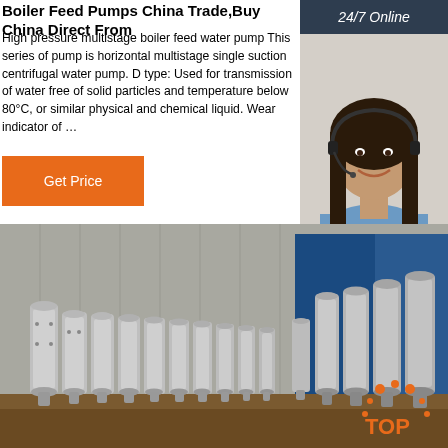Boiler Feed Pumps China Trade,Buy China Direct From
High pressure multistage boiler feed water pump This series of pump is horizontal multistage single suction centrifugal water pump. D type: Used for transmission of water free of solid particles and temperature below 80°C, or similar physical and chemical liquid. Wear indicator of …
[Figure (other): Orange 'Get Price' button]
[Figure (other): 24/7 Online chat agent — woman with headset smiling, dark background sidebar with '24/7 Online' header, 'Click here for free chat!' text, and orange QUOTATION button]
[Figure (photo): Row of stainless steel boiler feed pump units lined up on a workbench in a factory, with blue equipment in background. Orange TOP logo badge in lower right.]